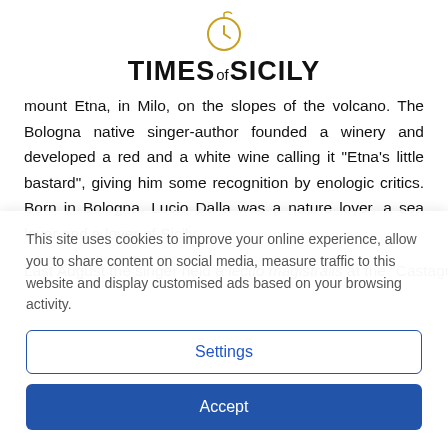[Figure (logo): Times of Sicily logo with orange citrus icon above the text]
mount Etna, in Milo, on the slopes of the volcano. The Bologna native singer-author founded a winery and developed a red and a white wine calling it "Etna's little bastard", giving him some recognition by enologic critics. Born in Bologna, Lucio Dalla was a nature lover, a sea lover and a lover of Sicily.
Last August the singer held a lectio magistralis at the "Castagno
This site uses cookies to improve your online experience, allow you to share content on social media, measure traffic to this website and display customised ads based on your browsing activity.
Settings
Accept